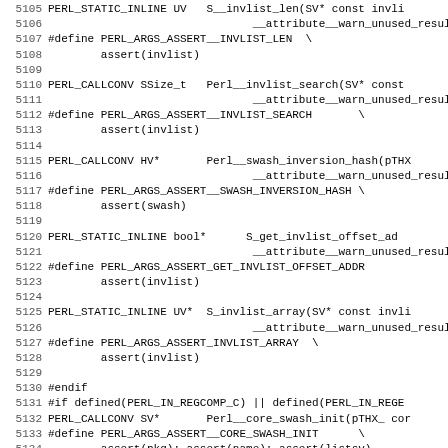5105 PERL_STATIC_INLINE UV   S__invlist_len(SV* const invli...
5106                                __attribute__warn_unused_result
5107 #define PERL_ARGS_ASSERT__INVLIST_LEN \
5108         assert(invlist)
5109
5110 PERL_CALLCONV SSize_t   Perl__invlist_search(SV* const...
5111                                __attribute__warn_unused_result
5112 #define PERL_ARGS_ASSERT__INVLIST_SEARCH        \
5113         assert(invlist)
5114
5115 PERL_CALLCONV HV*       Perl__swash_inversion_hash(pTHX...
5116                                __attribute__warn_unused_result
5117 #define PERL_ARGS_ASSERT__SWASH_INVERSION_HASH \
5118         assert(swash)
5119
5120 PERL_STATIC_INLINE bool*      S_get_invlist_offset_ad...
5121                                __attribute__warn_unused_result
5122 #define PERL_ARGS_ASSERT_GET_INVLIST_OFFSET_ADDR
5123         assert(invlist)
5124
5125 PERL_STATIC_INLINE UV*  S_invlist_array(SV* const invli...
5126                                __attribute__warn_unused_result
5127 #define PERL_ARGS_ASSERT_INVLIST_ARRAY  \
5128         assert(invlist)
5129
5130 #endif
5131 #if defined(PERL_IN_REGCOMP_C) || defined(PERL_IN_REGE...
5132 PERL_CALLCONV SV*       Perl__core_swash_init(pTHX_ cor...
5133 #define PERL_ARGS_ASSERT__CORE_SWASH_INIT       \
5134         assert(pkg); assert(name); assert(listsv)
5135 #endif
5136 #if defined(PERL_IN_REGCOMP_C) || defined(PERL_IN_TOKE...
5137 PERL_STATIC_INLINE char*      S_form_short_octal_warn...